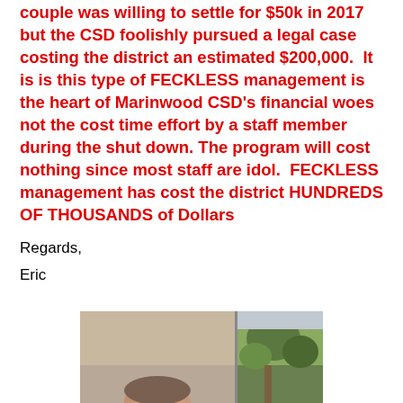couple was willing to settle for $50k in 2017 but the CSD foolishly pursued a legal case costing the district an estimated $200,000.  It is is this type of FECKLESS management is the heart of Marinwood CSD's financial woes not the cost time effort by a staff member during the shut down. The program will cost nothing since most staff are idol.  FECKLESS management has cost the district HUNDREDS OF THOUSANDS of Dollars
Regards,
Eric
[Figure (photo): Partial photo showing a person's face/head from behind a surface, with greenery visible in the background on the right side.]